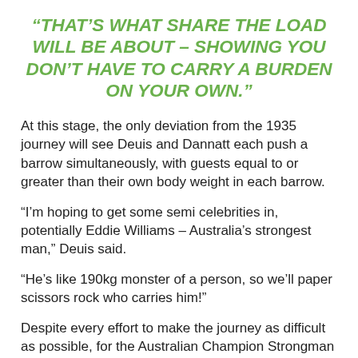“THAT’S WHAT SHARE THE LOAD WILL BE ABOUT – SHOWING YOU DON’T HAVE TO CARRY A BURDEN ON YOUR OWN.”
At this stage, the only deviation from the 1935 journey will see Deuis and Dannatt each push a barrow simultaneously, with guests equal to or greater than their own body weight in each barrow.
“I’m hoping to get some semi celebrities in, potentially Eddie Williams – Australia’s strongest man,” Deuis said.
“He’s like 190kg monster of a person, so we’ll paper scissors rock who carries him!”
Despite every effort to make the journey as difficult as possible, for the Australian Champion Strongman and his friend (who is